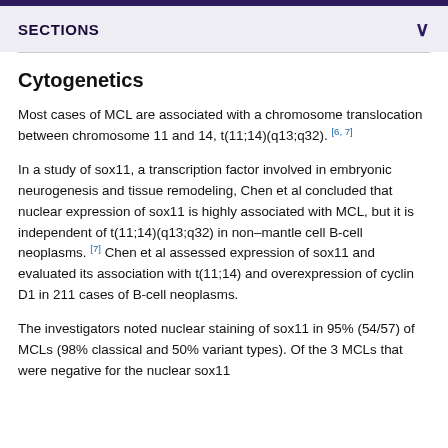SECTIONS
Cytogenetics
Most cases of MCL are associated with a chromosome translocation between chromosome 11 and 14, t(11;14)(q13;q32). [6, 7]
In a study of sox11, a transcription factor involved in embryonic neurogenesis and tissue remodeling, Chen et al concluded that nuclear expression of sox11 is highly associated with MCL, but it is independent of t(11;14)(q13;q32) in non–mantle cell B-cell neoplasms. [7] Chen et al assessed expression of sox11 and evaluated its association with t(11;14) and overexpression of cyclin D1 in 211 cases of B-cell neoplasms.
The investigators noted nuclear staining of sox11 in 95% (54/57) of MCLs (98% classical and 50% variant types). Of the 3 MCLs that were negative for the nuclear sox11